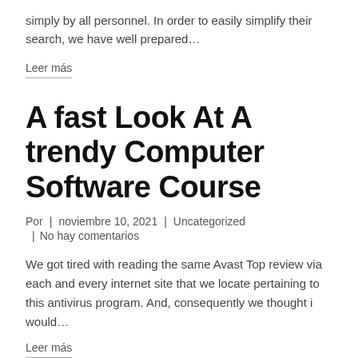simply by all personnel. In order to easily simplify their search, we have well prepared…
Leer más
A fast Look At A trendy Computer Software Course
Por | noviembre 10, 2021 | Uncategorized | No hay comentarios
We got tired with reading the same Avast Top review via each and every internet site that we locate pertaining to this antivirus program. And, consequently we thought i would…
Leer más